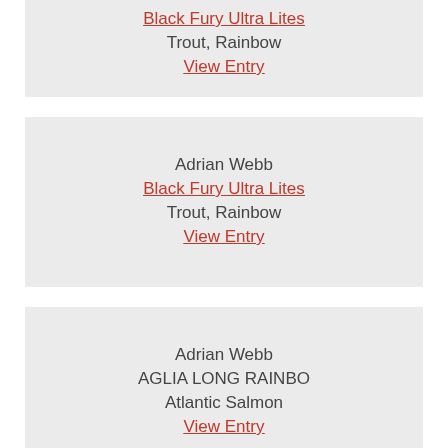Black Fury Ultra Lites
Trout, Rainbow
View Entry
Adrian Webb
Black Fury Ultra Lites
Trout, Rainbow
View Entry
Adrian Webb
AGLIA LONG RAINBO
Atlantic Salmon
View Entry